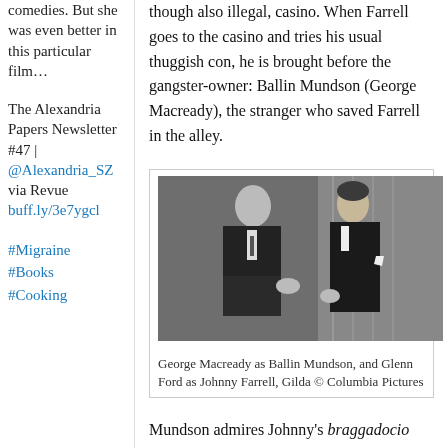comedies. But she was even better in this particular film…
The Alexandria Papers Newsletter #47 | @Alexandria_SZ via Revue buff.ly/3e7ygcl
#Migraine #Books #Cooking
though also illegal, casino. When Farrell goes to the casino and tries his usual thuggish con, he is brought before the gangster-owner: Ballin Mundson (George Macready), the stranger who saved Farrell in the alley.
[Figure (photo): Black and white still from the film Gilda showing George Macready as Ballin Mundson and Glenn Ford as Johnny Farrell in conversation.]
George Macready as Ballin Mundson, and Glenn Ford as Johnny Farrell, Gilda © Columbia Pictures
Mundson admires Johnny's braggadocio and hires him as his right-hand man. Like